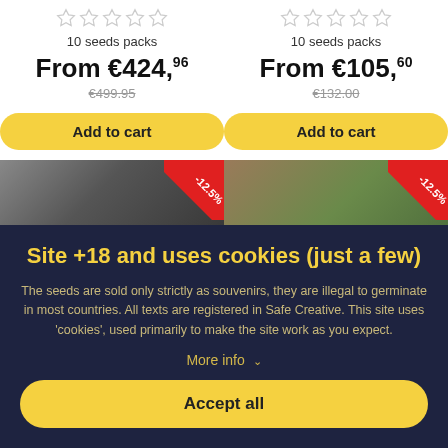[Figure (other): Five empty star rating icons (gray outline) for left product]
10 seeds packs
From €424,96
€499.95 (strikethrough)
Add to cart
[Figure (other): Five empty star rating icons (gray outline) for right product]
10 seeds packs
From €105,60
€132.00 (strikethrough)
Add to cart
[Figure (photo): Close-up photo of seeds/cannabis buds on left with -12.5% red discount badge]
[Figure (photo): Close-up photo of cannabis plant/buds on right with -12.5% red discount badge]
Site +18 and uses cookies (just a few)
The seeds are sold only strictly as souvenirs, they are illegal to germinate in most countries. All texts are registered in Safe Creative. This site uses 'cookies', used primarily to make the site work as you expect.
More info ∨
Accept all